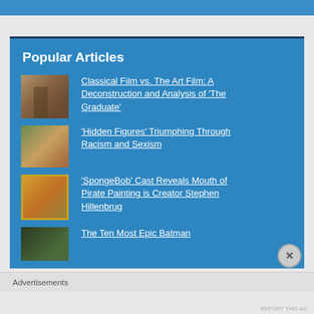Popular Articles
Classical Film vs. The Art Film: A Deconstruction and Analysis of 'The Graduate'
'Hidden Figures' Triumphing Through Racism and Sexism
'SpongeBob' Cast Reveals Mouth of Pirate Painting is Creator Stephen Hillenbrug
The Ten Most Epic Batman
Advertisements
REPORT THIS AD